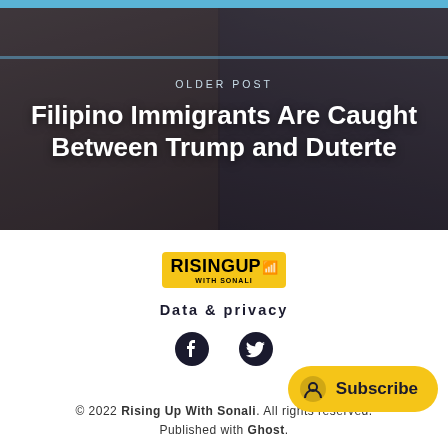[Figure (photo): Hero image showing two men's faces (Duterte on left, Trump on right) in a dark-toned composite photo with blue ribbon at top]
OLDER POST
Filipino Immigrants Are Caught Between Trump and Duterte
[Figure (logo): Rising Up With Sonali logo — yellow box with black text and signal icon]
Data & privacy
[Figure (illustration): Facebook and Twitter social media icons]
© 2022 Rising Up With Sonali. All rights reserved. Published with Ghost.